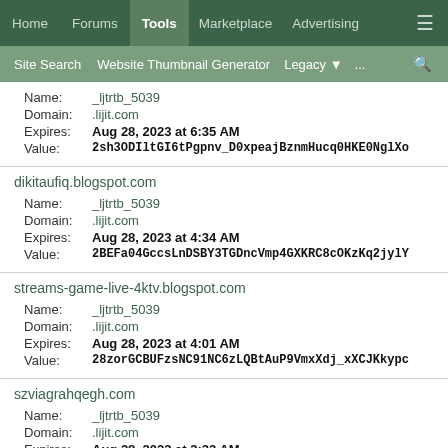Home | Forums | Tools | Marketplace | Advertising | ≡
Site Search | Website Thumbnail Generator | Legacy | ... | 🔍
Name: _ljtrtb_5039
Domain: .lijit.com
Expires: Aug 28, 2023 at 6:35 AM
Value: 2sh3ODIltGI6tPgpnv_D0xpeajBznmHucq0HKE0NglXo
dikitaufiq.blogspot.com
Name: _ljtrtb_5039
Domain: .lijit.com
Expires: Aug 28, 2023 at 4:34 AM
Value: 2BEFa04GccsLnDSBY3TGDncVmp4GXKRC8cOKzKq2jylY
streams-game-live-4ktv.blogspot.com
Name: _ljtrtb_5039
Domain: .lijit.com
Expires: Aug 28, 2023 at 4:01 AM
Value: 28zorGCBUFzsNC91NC6zLQBtAuP9VmxXdj_xXCJKkypc
szviagrahqegh.com
Name: _ljtrtb_5039
Domain: .lijit.com
Expires: Aug 28, 2023 at 3:33 AM
Value: 2A3-D3nK9TPVdcjebEhrp4TfzlHxHYHsR-Tvbje_PMos